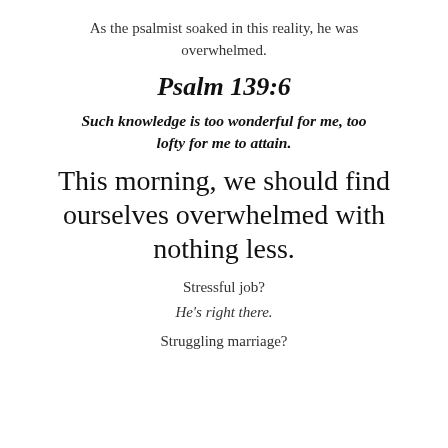As the psalmist soaked in this reality, he was overwhelmed.
Psalm 139:6
Such knowledge is too wonderful for me, too lofty for me to attain.
This morning, we should find ourselves overwhelmed with nothing less.
Stressful job?
He's right there.
Struggling marriage?